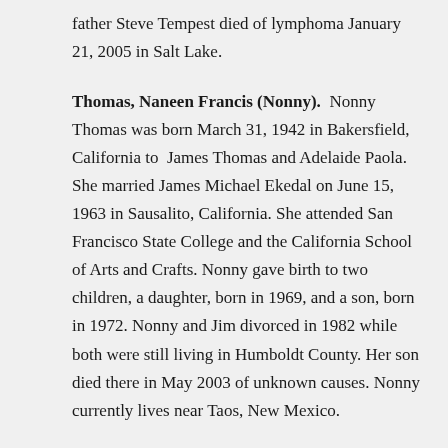father Steve Tempest died of lymphoma January 21, 2005 in Salt Lake.
Thomas, Naneen Francis (Nonny). Nonny Thomas was born March 31, 1942 in Bakersfield, California to James Thomas and Adelaide Paola. She married James Michael Ekedal on June 15, 1963 in Sausalito, California. She attended San Francisco State College and the California School of Arts and Crafts. Nonny gave birth to two children, a daughter, born in 1969, and a son, born in 1972. Nonny and Jim divorced in 1982 while both were still living in Humboldt County. Her son died there in May 2003 of unknown causes. Nonny currently lives near Taos, New Mexico.
Turvey, Beryl Edward. Dr. Turvey was born in Steubenville, Ohio on February 12, 1938 to Beryl E. and